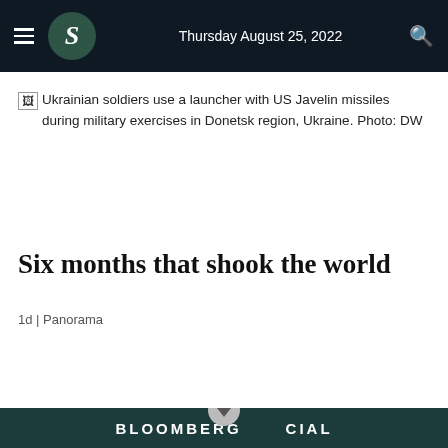Thursday August 25, 2022
[Figure (photo): Broken image placeholder with alt text: Ukrainian soldiers use a launcher with US Javelin missiles during military exercises in Donetsk region, Ukraine. Photo: DW]
Six months that shook the world
1d | Panorama
[Figure (other): Bloomberg Special banner at bottom of page, partially visible]